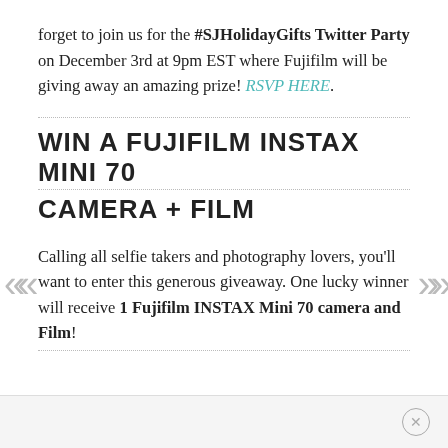forget to join us for the #SJHolidayGifts Twitter Party on December 3rd at 9pm EST where Fujifilm will be giving away an amazing prize! RSVP HERE.
WIN A FUJIFILM INSTAX MINI 70 CAMERA + FILM
Calling all selfie takers and photography lovers, you'll want to enter this generous giveaway. One lucky winner will receive 1 Fujifilm INSTAX Mini 70 camera and Film!